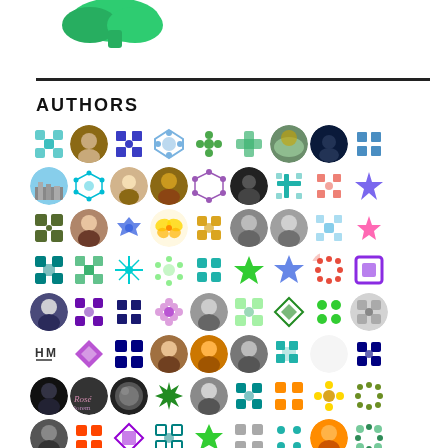[Figure (logo): Green leaf/cloud shaped logo at top left]
AUTHORS
[Figure (illustration): Grid of circular author avatars — mix of real photos and colorful geometric identicon patterns, arranged in approximately 8 rows of 9 avatars each]